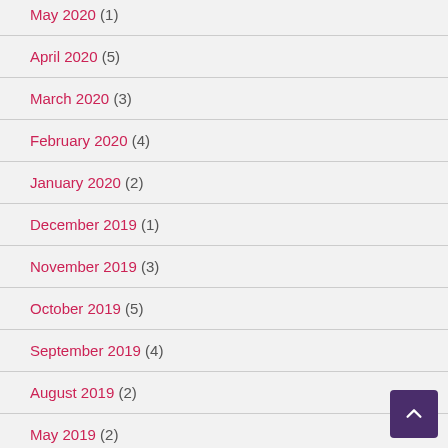May 2020 (1)
April 2020 (5)
March 2020 (3)
February 2020 (4)
January 2020 (2)
December 2019 (1)
November 2019 (3)
October 2019 (5)
September 2019 (4)
August 2019 (2)
May 2019 (2)
April 2019 (4)